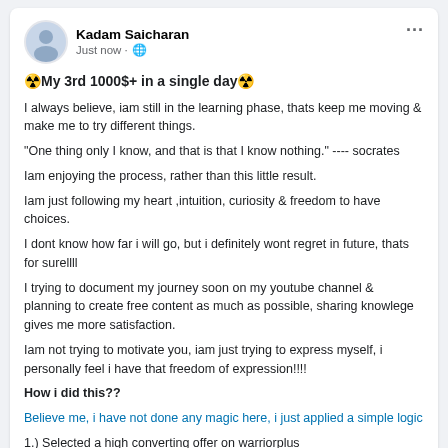Kadam Saicharan
Just now · 🌐
☢️My 3rd 1000$+ in a single day☢️
I always believe, iam still in the learning phase, thats keep me moving & make me to try different things.
"One thing only I know, and that is that I know nothing." ---- socrates
Iam enjoying the process, rather than this little result.
Iam just following my heart ,intuition, curiosity & freedom to have choices.
I dont know how far i will go, but i definitely wont regret in future, thats for surellll
I trying to document my journey soon on my youtube channel & planning to create free content as much as possible, sharing knowlege gives me more satisfaction.
Iam not trying to motivate you, iam just trying to express myself, i personally feel i have that freedom of expression!!!!
How i did this??
Believe me, i have not done any magic here, i just applied a simple logic
1.) Selected a high converting offer on warriorplus
2.) Done some customer avatar research
3.) Finding a traffic source ( Fb or instagram or linkedin ) where people interested in offer.
4.) Helping them in their problems, answering their questions, consistent support!!!